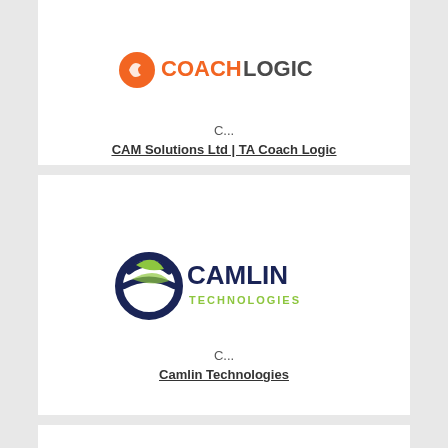[Figure (logo): Coach Logic logo — orange circle with swoosh and dark text COACH LOGIC]
C...
CAM Solutions Ltd | TA Coach Logic
[Figure (logo): Camlin Technologies logo — dark navy and green globe icon with CAMLIN TECHNOLOGIES text]
C...
Camlin Technologies
[Figure (logo): Cancer Research Technology logo — pink dots and blue arrows with text Cancer Research Technology]